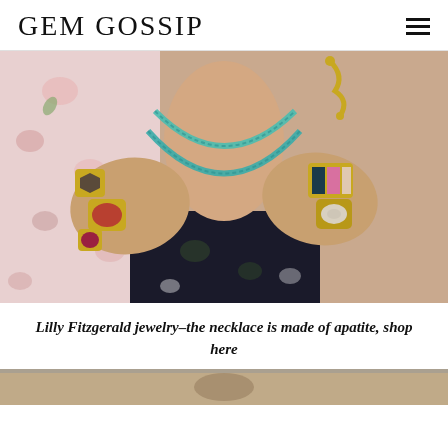GEM GOSSIP
[Figure (photo): Close-up of a person wearing multiple gold rings with colorful gemstones (tourmaline, ruby, opal, apatite) on both hands, and a double-strand turquoise/apatite bead necklace with a gold snake-hook clasp. Wearing a floral blouse and dark floral top.]
Lilly Fitzgerald jewelry–the necklace is made of apatite, shop here
[Figure (photo): Partial view of another jewelry photo at the bottom of the page.]